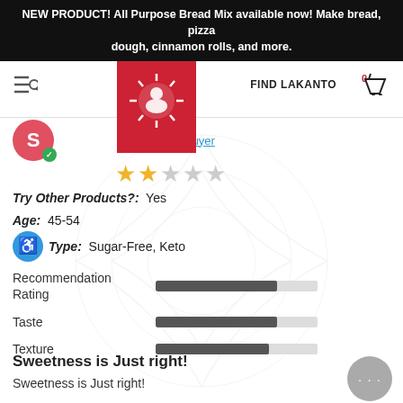NEW PRODUCT! All Purpose Bread Mix available now! Make bread, pizza dough, cinnamon rolls, and more.
[Figure (screenshot): Lakanto website navigation bar with red logo, hamburger/search icon, FIND LAKANTO link, and cart icon showing 0 items]
Verified Buyer
[Figure (infographic): Two gold/yellow stars rating out of 5]
Try Other Products?: Yes
Age: 45-54
Type: Sugar-Free, Keto
Recommendation Rating [bar]
Taste [bar]
Texture [bar]
Sweetness is Just right!
Sweetness is Just right!
Share |